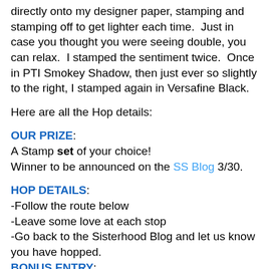directly onto my designer paper, stamping and stamping off to get lighter each time.  Just in case you thought you were seeing double, you can relax.  I stamped the sentiment twice.  Once in PTI Smokey Shadow, then just ever so slightly to the right, I stamped again in Versafine Black.
Here are all the Hop details:
OUR PRIZE:
A Stamp set of your choice!
Winner to be announced on the SS Blog 3/30.
HOP DETAILS:
-Follow the route below
-Leave some love at each stop
-Go back to the Sisterhood Blog and let us know you have hopped.
BONUS ENTRY:
-As a bonus we will draw an EXTRA winner for a STAMP SET of your choice, just for sharing our Hop on your Facebook page or Blog!
-After you have shared, go back to the Stampin' Sisterhood